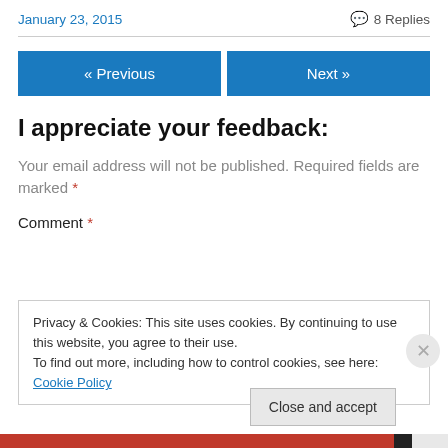January 23, 2015
8 Replies
« Previous
Next »
I appreciate your feedback:
Your email address will not be published. Required fields are marked *
Comment *
Privacy & Cookies: This site uses cookies. By continuing to use this website, you agree to their use.
To find out more, including how to control cookies, see here: Cookie Policy
Close and accept